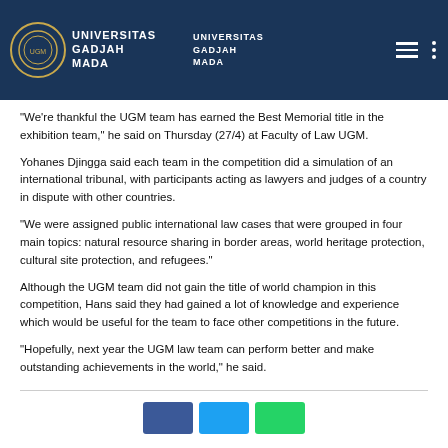Universitas Gadjah Mada
"We're thankful the UGM team has earned the Best Memorial title in the exhibition team," he said on Thursday (27/4) at Faculty of Law UGM.
Yohanes Djingga said each team in the competition did a simulation of an international tribunal, with participants acting as lawyers and judges of a country in dispute with other countries.
"We were assigned public international law cases that were grouped in four main topics: natural resource sharing in border areas, world heritage protection, cultural site protection, and refugees."
Although the UGM team did not gain the title of world champion in this competition, Hans said they had gained a lot of knowledge and experience which would be useful for the team to face other competitions in the future.
"Hopefully, next year the UGM law team can perform better and make outstanding achievements in the world," he said.